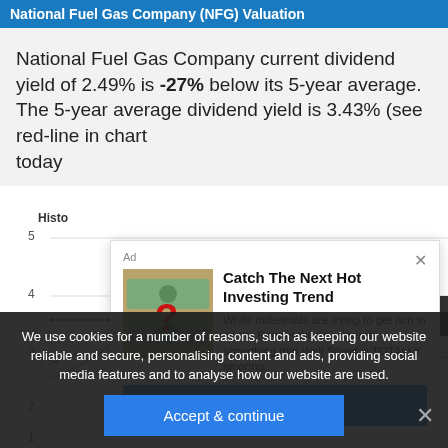National Fuel Gas Company (NFG) Valuation
National Fuel Gas Company current dividend yield of 2.49% is -27% below its 5-year average. The 5-year average dividend yield is 3.43% (see red-line in chart today
[Figure (continuous-plot): Historical dividend yield chart showing yield over time with a red dashed average line at 3.43%. Y-axis shows values from 1 to 5. Partially obscured by overlays. Data labels visible: 2.54, 2.40.]
[Figure (other): Advertisement overlay: 'Catch The Next Hot Investing Trend' with image of dollar bills and question mark, body text about millennials and crypto, with 'DISCOVER HERE' button.]
We use cookies for a number of reasons, such as keeping our website reliable and secure, personalising content and ads, providing social media features and to analyse how our website are used.